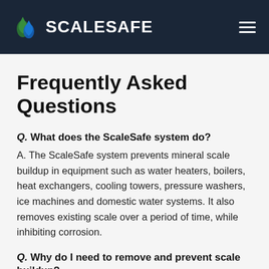ScaleSafe
Frequently Asked Questions
Q.  What does the ScaleSafe system do?
A.  The ScaleSafe system prevents mineral scale buildup in equipment such as water heaters, boilers, heat exchangers, cooling towers, pressure washers, ice machines and domestic water systems. It also removes existing scale over a period of time, while inhibiting corrosion.
Q.  Why do I need to remove and prevent scale buildup?
A.  Scale buildup on heat transfer surfaces causes metal fatigue which can result in premature equipment failure. It